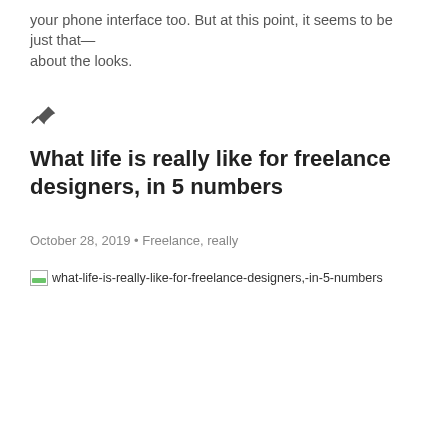your phone interface too. But at this point, it seems to be just that—about the looks.
What life is really like for freelance designers, in 5 numbers
October 28, 2019 • Freelance, really
[Figure (other): Broken image placeholder with alt text: what-life-is-really-like-for-freelance-designers,-in-5-numbers]